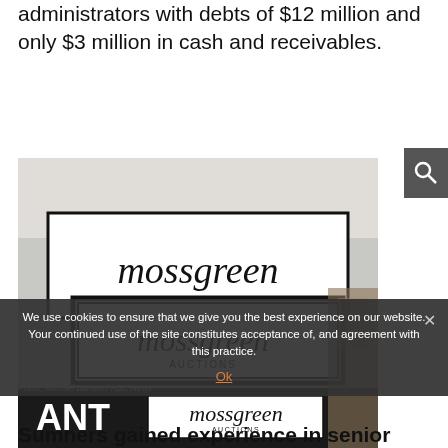administrators with debts of $12 million and only $3 million in cash and receivables.
[Figure (photo): Photograph showing Mossgreen Auctions signage — multiple signs stacked: a large white sign reading 'mossgreen', below it a bordered sign reading 'mossgreen AUCTIONS', and at the bottom a black sign reading 'ANT' alongside a smaller 'mossgreen AUCTIONS' sign.]
Photo: Michael Barnett / ABC News
We use cookies to ensure that we give you the best experience on our website. Your continued use of the site constitutes acceptance of, and agreement with this practice.
Ok
Sumners gained experience in senior